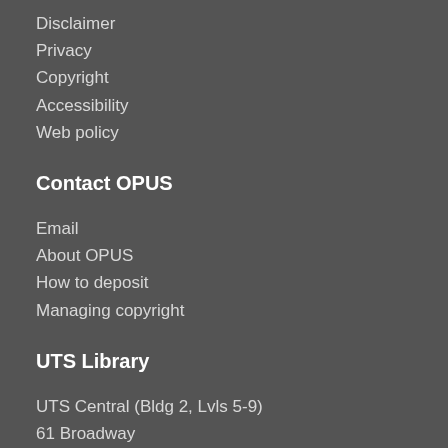Disclaimer
Privacy
Copyright
Accessibility
Web policy
Contact OPUS
Email
About OPUS
How to deposit
Managing copyright
UTS Library
UTS Central (Bldg 2, Lvls 5-9)
61 Broadway
Ultimo NSW 2007
Ph: +61 2 9514 3666